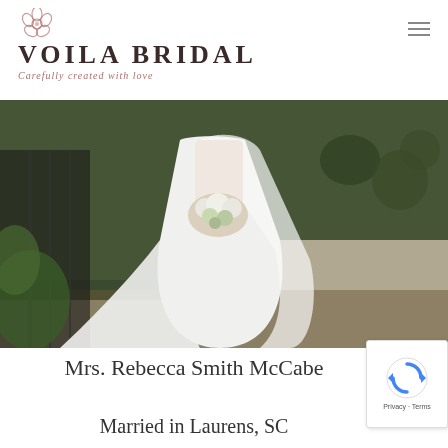VOILA BRIDAL — Carefully created with love
[Figure (photo): Bride in a flowing white gown with a long train, holding a white and green bouquet. Outdoor setting with dark hedges and wrought iron fence in the background.]
Mrs. Rebecca Smith McCabe
Married in Laurens, SC